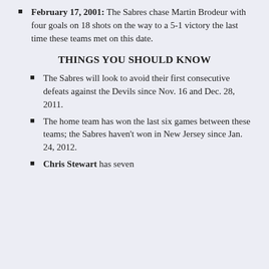February 17, 2001: The Sabres chase Martin Brodeur with four goals on 18 shots on the way to a 5-1 victory the last time these teams met on this date.
THINGS YOU SHOULD KNOW
The Sabres will look to avoid their first consecutive defeats against the Devils since Nov. 16 and Dec. 28, 2011.
The home team has won the last six games between these teams; the Sabres haven't won in New Jersey since Jan. 24, 2012.
Chris Stewart has seven